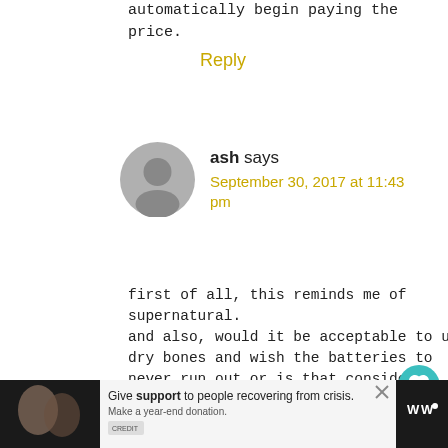automatically begin paying the price.
Reply
[Figure (illustration): Grey circular avatar placeholder icon for user 'ash']
ash says
September 30, 2017 at 11:43 pm
first of all, this reminds me of supernatural.
and also, would it be acceptable to use dry bones and wish the batteries to never run out or is that considered “steep” for playing dry bones?
could you complete 11 miles and wish the batteries to never run out?
[Figure (illustration): Teal circular heart/like button icon]
12
[Figure (illustration): Teal circular share button icon]
[Figure (illustration): What's Next panel with thumbnail image and text 'The Most Dangerous...']
[Figure (illustration): Advertisement banner at bottom: image of people, text 'Give support to people recovering from crisis. Make a year-end donation.' with Tidal logo]